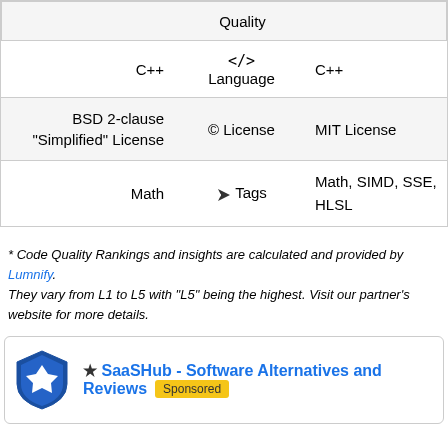| Left | Middle | Right |
| --- | --- | --- |
|  | Quality |  |
| C++ | </>  Language | C++ |
| BSD 2-clause "Simplified" License | © License | MIT License |
| Math | 🏷 Tags | Math, SIMD, SSE, HLSL |
* Code Quality Rankings and insights are calculated and provided by Lumnify. They vary from L1 to L5 with "L5" being the highest. Visit our partner's website for more details.
SaaSHub - Software Alternatives and Reviews  Sponsored